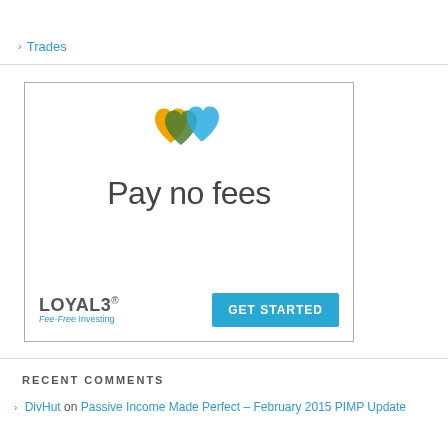Trades
[Figure (infographic): LOYAL3 advertisement showing two overlapping heart icons (orange, dark green, blue), large text 'Pay no fees', LOYAL3 logo with tagline 'Fee-Free Investing', and a 'GET STARTED' button in blue.]
RECENT COMMENTS
DivHut on Passive Income Made Perfect – February 2015 PIMP Update